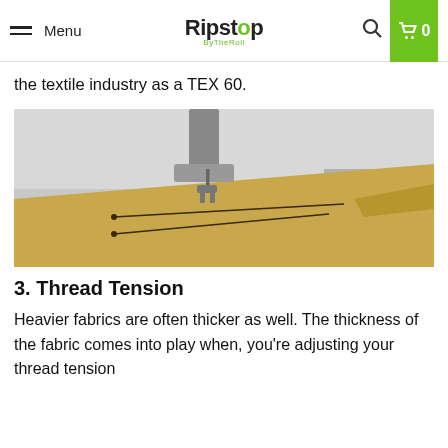Menu | Ripstop ByTheRoll | [search] [cart 0]
the textile industry as a TEX 60.
[Figure (photo): Close-up photo of a sewing machine needle above tan/khaki ripstop fabric on a table, with two long pins placed diagonally on the fabric.]
3. Thread Tension
Heavier fabrics are often thicker as well. The thickness of the fabric comes into play when, you're adjusting your thread tension